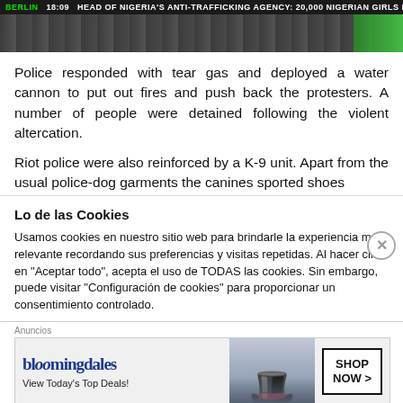BERLIN  18:09  HEAD OF NIGERIA'S ANTI-TRAFFICKING AGENCY: 20,000 NIGERIAN GIRLS HELD AS SEX SLAVES IN MALI
[Figure (screenshot): Video thumbnail showing dark scene with green bar on the right]
Police responded with tear gas and deployed a water cannon to put out fires and push back the protesters. A number of people were detained following the violent altercation.
Riot police were also reinforced by a K-9 unit. Apart from the usual police-dog garments the canines sported shoes
Lo de las Cookies
Usamos cookies en nuestro sitio web para brindarle la experiencia más relevante recordando sus preferencias y visitas repetidas. Al hacer clic en "Aceptar todo", acepta el uso de TODAS las cookies. Sin embargo, puede visitar "Configuración de cookies" para proporcionar un consentimiento controlado.
Anuncios
[Figure (photo): Bloomingdale's advertisement banner showing logo, 'View Today's Top Deals!' text, woman with hat, and SHOP NOW button]